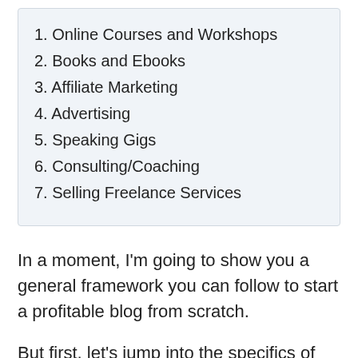1. Online Courses and Workshops
2. Books and Ebooks
3. Affiliate Marketing
4. Advertising
5. Speaking Gigs
6. Consulting/Coaching
7. Selling Freelance Services
In a moment, I'm going to show you a general framework you can follow to start a profitable blog from scratch.
But first, let's jump into the specifics of how to